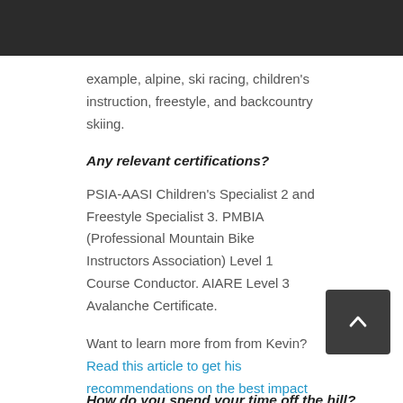example, alpine, ski racing, children's instruction, freestyle, and backcountry skiing.
Any relevant certifications?
PSIA-AASI Children's Specialist 2 and Freestyle Specialist 3. PMBIA (Professional Mountain Bike Instructors Association) Level 1 Course Conductor. AIARE Level 3 Avalanche Certificate.
Want to learn more from from Kevin? Read this article to get his recommendations on the best impact shorts for skiing and snowboarding.
How do you spend your time off the hill?